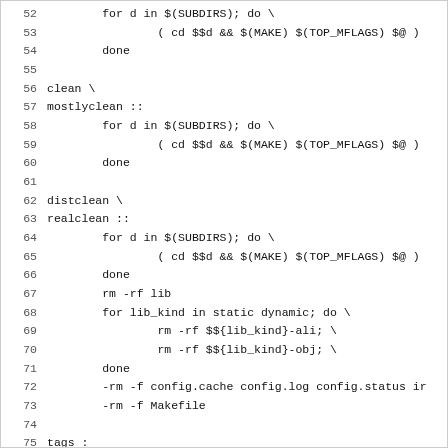[Figure (screenshot): Source code listing showing Makefile rules for clean, mostlyclean, distclean, realclean, tags, preinstall, and install.data targets, with line numbers 52-82.]